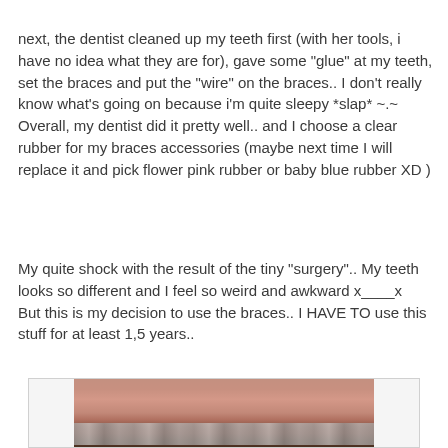next, the dentist cleaned up my teeth first (with her tools, i have no idea what they are for), gave some "glue" at my teeth, set the braces and put the "wire" on the braces.. I don't really know what's going on because i'm quite sleepy *slap* ~.~ Overall, my dentist did it pretty well.. and I choose a clear rubber for my braces accessories (maybe next time I will replace it and pick flower pink rubber or baby blue rubber XD )
My quite shock with the result of the tiny "surgery".. My teeth looks so different and I feel so weird and awkward x____x But this is my decision to use the braces.. I HAVE TO use this stuff for at least 1,5 years..
[Figure (photo): Close-up photo of a person's lips and teeth showing dental braces with clear rubber accessories. The upper lip is visible along with the bottom teeth fitted with metal braces.]